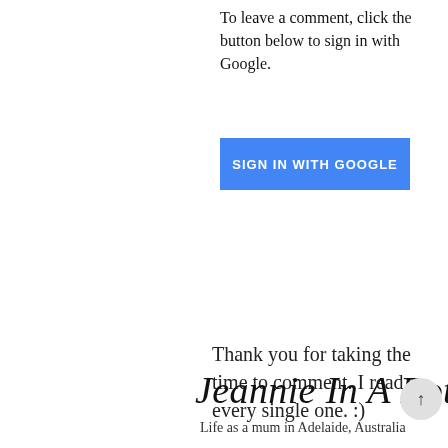To leave a comment, click the button below to sign in with Google.
[Figure (other): Blue 'SIGN IN WITH GOOGLE' button]
Thank you for taking the time to comment. I read every single one. :)
Jeannie In A Bottle
Life as a mum in Adelaide, Australia